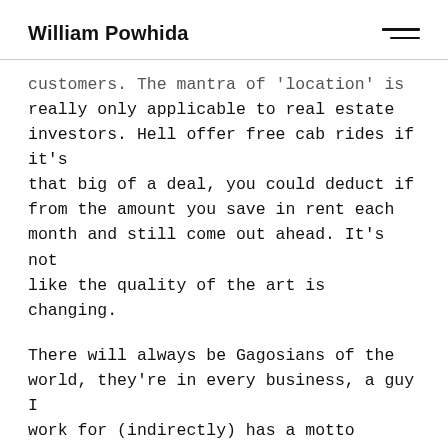William Powhida
customers. The mantra of 'location' is really only applicable to real estate investors. Hell offer free cab rides if it's that big of a deal, you could deduct if from the amount you save in rent each month and still come out ahead. It's not like the quality of the art is changing.
There will always be Gagosians of the world, they're in every business, a guy I work for (indirectly) has a motto 'better to be a guaranteed number 2 than a failed number 1'. Get used to them. But even